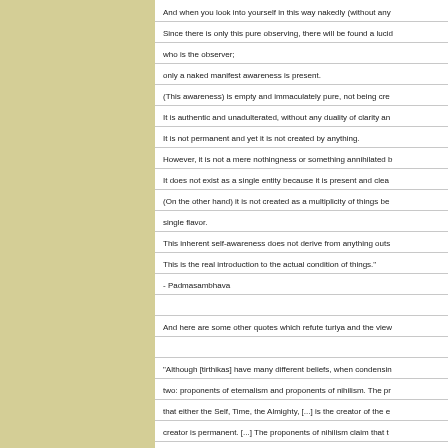And when you look into yourself in this way nakedly (without any Since there is only this pure observing, there will be found a lucid who is the observer; only a naked manifest awareness is present. (This awareness) is empty and immaculately pure, not being cre It is authentic and unadulterated, without any duality of clarity an It is not permanent and yet it is not created by anything. However, it is not a mere nothingness or something annihilated b It does not exist as a single entity because it is present and clea (On the other hand) it is not created as a multiplicity of things be single flavor. This inherent self-awareness does not derive from anything outs This is the real introduction to the actual condition of things." - Padmasambhava
And here are some other quotes which refute turiya and the view
"Although [tirthikas] have many different beliefs, when condensin two: proponents of eternalism and proponents of nihilism. The pr that either the Self, Time, the Almighty, [...] is the creator of the e creator is permanent. [...] The proponents of nihilism claim that t itself without causes, such as past karma; that consciousness oc elements; and that since it is discontinued at the time of death, it